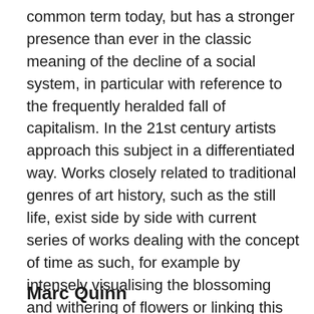common term today, but has a stronger presence than ever in the classic meaning of the decline of a social system, in particular with reference to the frequently heralded fall of capitalism. In the 21st century artists approach this subject in a differentiated way. Works closely related to traditional genres of art history, such as the still life, exist side by side with current series of works dealing with the concept of time as such, for example by intensely visualising the blossoming and withering of flowers or linking this with socio-political issues. The delightful moment of the pictures and materials is sometimes opposed to the subject matter or explicitly border-crossing contents.
Marc Quinn